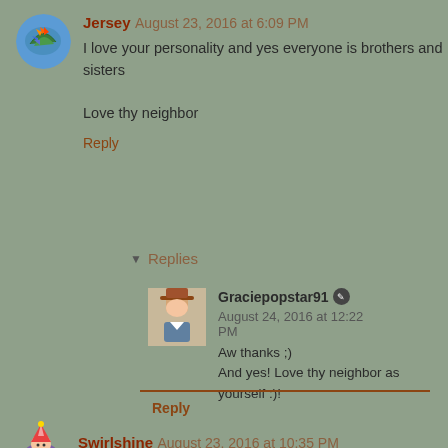[Figure (photo): Round avatar with bird of paradise flower illustration]
Jersey August 23, 2016 at 6:09 PM
I love your personality and yes everyone is brothers and sisters

Love thy neighbor
Reply
Replies
[Figure (photo): Small square avatar showing a person with hat]
Graciepopstar91 August 24, 2016 at 12:22 PM
Aw thanks ;)
And yes! Love thy neighbor as yourself :)!
Reply
[Figure (illustration): Small avatar with wizard/party hat character]
Swirlshine August 23, 2016 at 10:35 PM